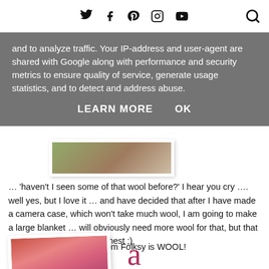Social media icons: Twitter, Facebook, Pinterest, Instagram, YouTube, Search
and to analyze traffic. Your IP-address and user-agent are shared with Google along with performance and security metrics to ensure quality of service, generate usage statistics, and to detect and address abuse.
LEARN MORE   OK
[Figure (photo): Partial photo of a knitted or fabric item visible at the top of the page, cropped]
… 'haven't I seen some of that wool before?' I hear you cry …. well yes, but I love it … and have decided that after I have made a camera case, which won't take much wool, I am going to make a large blanket … will obviously need more wool for that, but that won't be a chore to get honest ;)
So this week Collection from Folksy is WOOL!
[Figure (photo): Partial photo of red/pink wool yarn skeins at the bottom of the page, and a decorative lowercase letter 'a' in red/pink serif font]